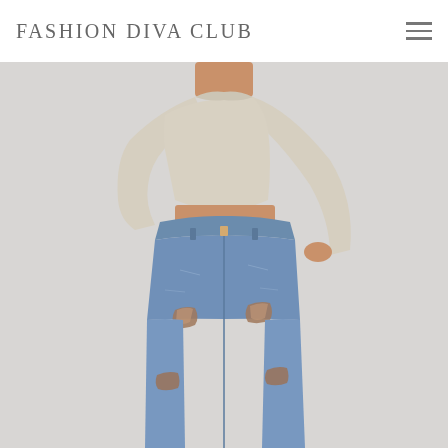Fashion Diva Club
[Figure (photo): A woman wearing a beige ribbed long-sleeve asymmetric crop top and high-waisted blue distressed skinny jeans with ripped knees, photographed against a light gray background. Fashion blog screenshot.]